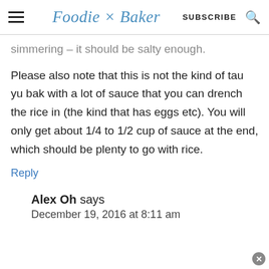Foodie × Baker  SUBSCRIBE
simmering – it should be salty enough.
Please also note that this is not the kind of tau yu bak with a lot of sauce that you can drench the rice in (the kind that has eggs etc). You will only get about 1/4 to 1/2 cup of sauce at the end, which should be plenty to go with rice.
Reply
Alex Oh says
December 19, 2016 at 8:11 am